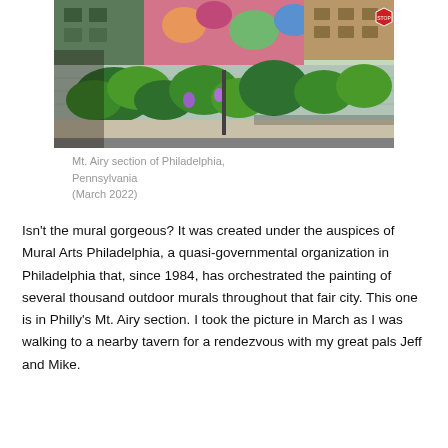[Figure (photo): Photograph of a colorful outdoor mural painted on a building wall in the Mt. Airy section of Philadelphia, Pennsylvania. The mural features tropical plants, flowers, and birds in vibrant greens, pinks, and oranges. A street scene is visible in the foreground with sidewalk and street visible.]
Mt. Airy section of Philadelphia, Pennsylvania (March 2022)
Isn't the mural gorgeous? It was created under the auspices of Mural Arts Philadelphia, a quasi-governmental organization in Philadelphia that, since 1984, has orchestrated the painting of several thousand outdoor murals throughout that fair city. This one is in Philly's Mt. Airy section. I took the picture in March as I was walking to a nearby tavern for a rendezvous with my great pals Jeff and Mike.